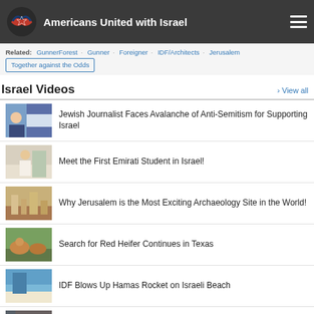Americans United with Israel
Related: GunnerForest · Gunner · Foreigner · IDF/Architects · Jerusalem · Together against the Odds
Israel Videos
Jewish Journalist Faces Avalanche of Anti-Semitism for Supporting Israel
Meet the First Emirati Student in Israel!
Why Jerusalem is the Most Exciting Archaeology Site in the World!
Search for Red Heifer Continues in Texas
IDF Blows Up Hamas Rocket on Israeli Beach
2nd Generation IDF Pilot Proudly Follows Father's Footsteps